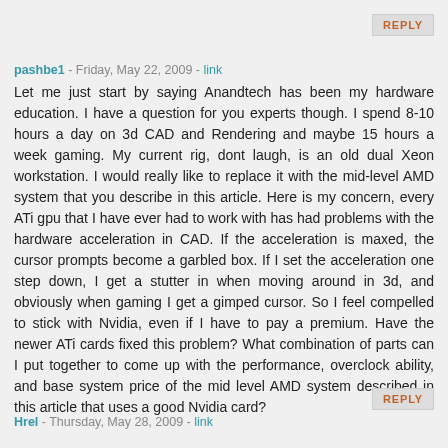REPLY
pashbe1 - Friday, May 22, 2009 - link
Let me just start by saying Anandtech has been my hardware education. I have a question for you experts though. I spend 8-10 hours a day on 3d CAD and Rendering and maybe 15 hours a week gaming. My current rig, dont laugh, is an old dual Xeon workstation. I would really like to replace it with the mid-level AMD system that you describe in this article. Here is my concern, every ATi gpu that I have ever had to work with has had problems with the hardware acceleration in CAD. If the acceleration is maxed, the cursor prompts become a garbled box. If I set the acceleration one step down, I get a stutter in when moving around in 3d, and obviously when gaming I get a gimped cursor. So I feel compelled to stick with Nvidia, even if I have to pay a premium. Have the newer ATi cards fixed this problem? What combination of parts can I put together to come up with the performance, overclock ability, and base system price of the mid level AMD system described in this article that uses a good Nvidia card?
REPLY
Hrel - Thursday, May 28, 2009 - link